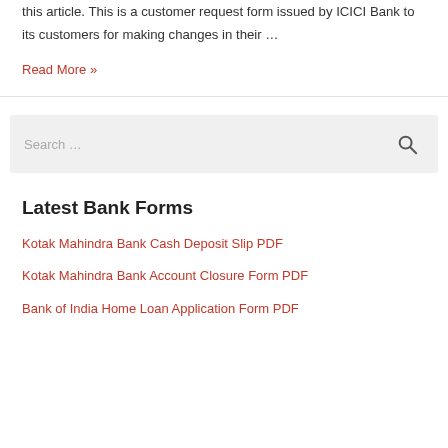this article. This is a customer request form issued by ICICI Bank to its customers for making changes in their …
Read More »
Search …
Latest Bank Forms
Kotak Mahindra Bank Cash Deposit Slip PDF
Kotak Mahindra Bank Account Closure Form PDF
Bank of India Home Loan Application Form PDF